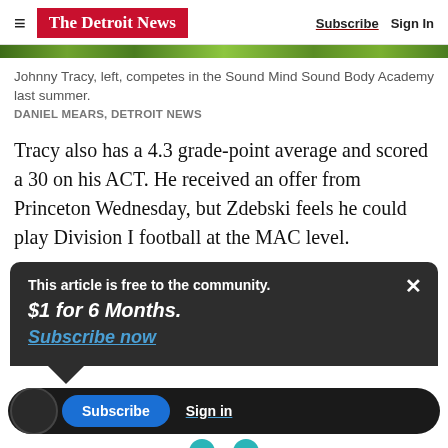The Detroit News — Subscribe | Sign In
Johnny Tracy, left, competes in the Sound Mind Sound Body Academy last summer.
DANIEL MEARS, DETROIT NEWS
Tracy also has a 4.3 grade-point average and scored a 30 on his ACT. He received an offer from Princeton Wednesday, but Zdebski feels he could play Division I football at the MAC level.
This article is free to the community.
$1 for 6 Months.
Subscribe now